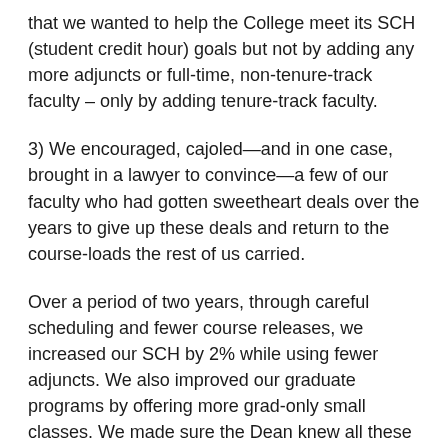that we wanted to help the College meet its SCH (student credit hour) goals but not by adding any more adjuncts or full-time, non-tenure-track faculty – only by adding tenure-track faculty.
3) We encouraged, cajoled—and in one case, brought in a lawyer to convince—a few of our faculty who had gotten sweetheart deals over the years to give up these deals and return to the course-loads the rest of us carried.
Over a period of two years, through careful scheduling and fewer course releases, we increased our SCH by 2% while using fewer adjuncts. We also improved our graduate programs by offering more grad-only small classes. We made sure the Dean knew all these things so that he understood that we were accountable, that if he provided us the resources to hire tenure track faculty those resources would not be squandered.
I remember sitting in the office of the chair of the philosophy department and crowing about a success. We had received permission from the Dean to make two tenure-track hires